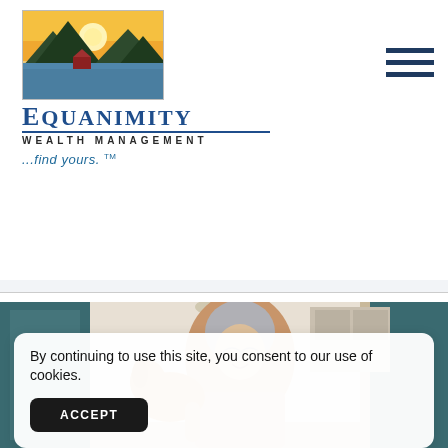[Figure (logo): Equanimity Wealth Management logo: landscape painting in a bordered frame showing mountains, sunset sky, water, and a dock; below it the company name in large serif blue letters with 'WEALTH MANAGEMENT' in small caps and the tagline '...find yours. TM']
top of that and youa...
[Figure (photo): Older woman with short gray hair and glasses smiling and petting a dog in a bright kitchen setting]
By continuing to use this site, you consent to our use of cookies.